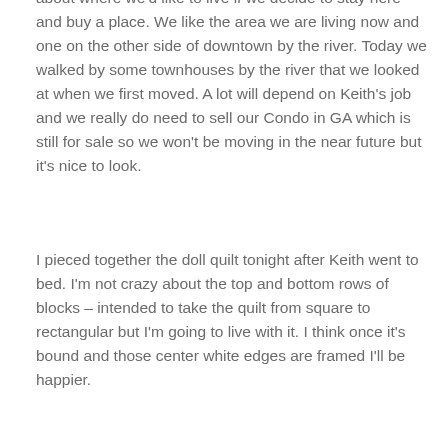about where we'd like to live if we decide to stay here and buy a place. We like the area we are living now and one on the other side of downtown by the river. Today we walked by some townhouses by the river that we looked at when we first moved. A lot will depend on Keith's job and we really do need to sell our Condo in GA which is still for sale so we won't be moving in the near future but it's nice to look.
I pieced together the doll quilt tonight after Keith went to bed. I'm not crazy about the top and bottom rows of blocks – intended to take the quilt from square to rectangular but I'm going to live with it. I think once it's bound and those center white edges are framed I'll be happier.